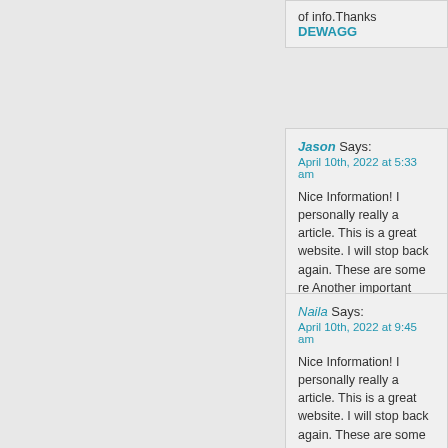of info.Thanks DEWAGG
208. Jason Says: April 10th, 2022 at 5:33 am
Nice Information! I personally really a article. This is a great website. I will stop back again. These are some re Another important note is to make su completely specific instructions to yo Please feel free to travel my web,
https://www.mixbowls.com/
209. Naila Says: April 10th, 2022 at 9:45 am
Nice Information! I personally really a article. This is a great website. I will stop back again. These are some re Another important note is to make su completely specific instructions to yo Please feel free to travel my web,
https://parcelout.kr/%EA%B2%80%A%B3%A8%EB%93%A0%EC%8A%8EC%96%B4/